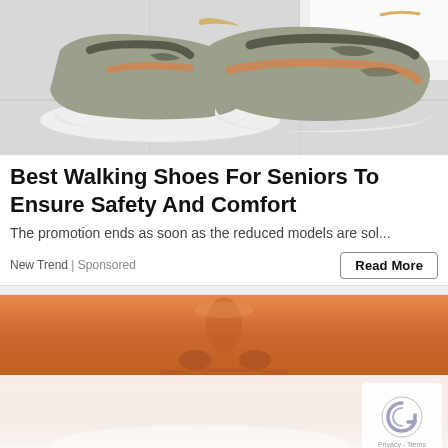[Figure (photo): Close-up photo of gray and orange/tan athletic walking shoes with white soles on a light tiled floor surface with white fluffy rug in background]
Best Walking Shoes For Seniors To Ensure Safety And Comfort
The promotion ends as soon as the reduced models are sol...
New Trend | Sponsored
[Figure (photo): Close-up photo of a person's nose and upper lip area with orange/tan skin tone]
[Figure (photo): Lower portion of second ad image showing a light/white background with reCAPTCHA logo overlay in the bottom right corner]